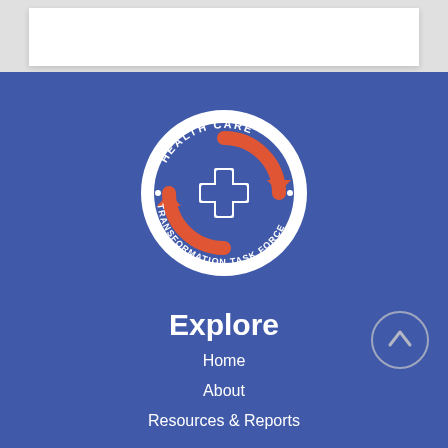[Figure (logo): Health Care Transformation Task Force circular logo with orange circular arrows and blue medical cross on blue background]
Explore
Home
About
Resources & Reports